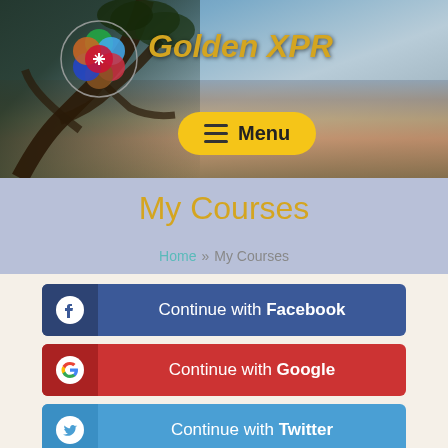[Figure (screenshot): Website header banner with Grand Canyon landscape background photo, Golden XPR logo with colorful circular icon, site title 'Golden XPR' in gold italic text, and a yellow pill-shaped Menu button with hamburger icon]
My Courses
Home » My Courses
[Figure (screenshot): Blue Facebook login button with Facebook 'f' icon and text 'Continue with Facebook']
[Figure (screenshot): Red Google login button with Google 'G' icon and text 'Continue with Google']
[Figure (screenshot): Blue Twitter login button with Twitter bird icon and text 'Continue with Twitter']
Login